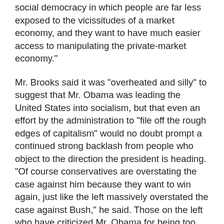social democracy in which people are far less exposed to the vicissitudes of a market economy, and they want to have much easier access to manipulating the private-market economy."
Mr. Brooks said it was "overheated and silly" to suggest that Mr. Obama was leading the United States into socialism, but that even an effort by the administration to "file off the rough edges of capitalism" would no doubt prompt a continued strong backlash from people who object to the direction the president is heading. "Of course conservatives are overstating the case against him because they want to win again, just like the left massively overstated the case against Bush," he said. Those on the left who have criticized Mr. Obama for being too timid in addressing the immediate crisis are similarly concerned that he will miss an opportunity to reshape American capitalism more fundamentally once the economy recovers. And even liberals allied with him suggest that the risk is that his ambition will prove